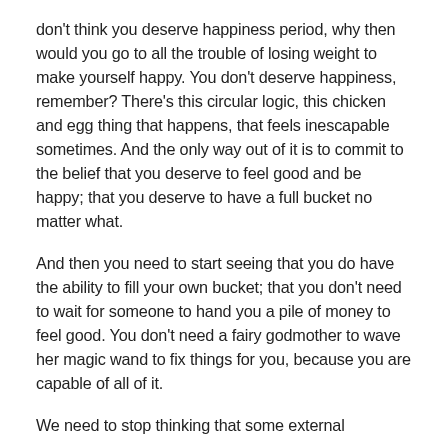don't think you deserve happiness period, why then would you go to all the trouble of losing weight to make yourself happy. You don't deserve happiness, remember? There's this circular logic, this chicken and egg thing that happens, that feels inescapable sometimes. And the only way out of it is to commit to the belief that you deserve to feel good and be happy; that you deserve to have a full bucket no matter what.
And then you need to start seeing that you do have the ability to fill your own bucket; that you don't need to wait for someone to hand you a pile of money to feel good. You don't need a fairy godmother to wave her magic wand to fix things for you, because you are capable of all of it.
We need to stop thinking that some external